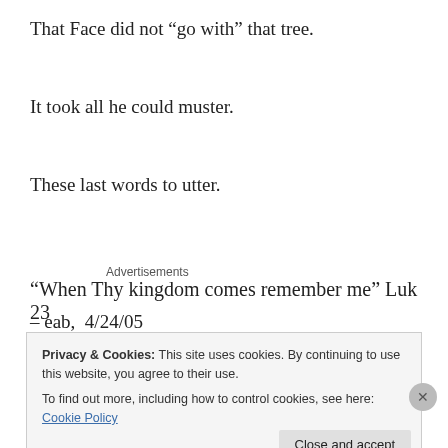That Face did not “go with” that tree.
It took all he could muster.
These last words to utter.
Advertisements
“When Thy kingdom comes remember me” Luk 23
– eab,  4/24/05
Privacy & Cookies: This site uses cookies. By continuing to use this website, you agree to their use.
To find out more, including how to control cookies, see here: Cookie Policy
Close and accept